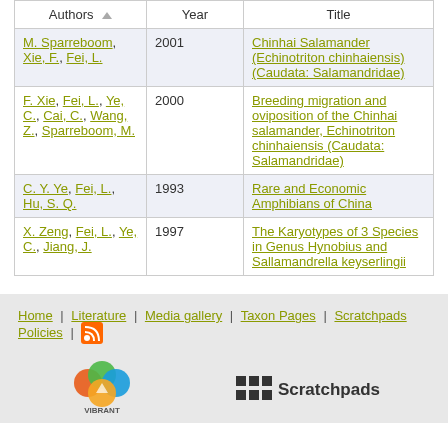| Authors | Year | Title |
| --- | --- | --- |
| M. Sparreboom, Xie, F., Fei, L. | 2001 | Chinhai Salamander (Echinotriton chinhaiensis) (Caudata: Salamandridae) |
| F. Xie, Fei, L., Ye, C., Cai, C., Wang, Z., Sparreboom, M. | 2000 | Breeding migration and oviposition of the Chinhai salamander, Echinotriton chinhaiensis (Caudata: Salamandridae) |
| C. Y. Ye, Fei, L., Hu, S. Q. | 1993 | Rare and Economic Amphibians of China |
| X. Zeng, Fei, L., Ye, C., Jiang, J. | 1997 | The Karyotypes of 3 Species in Genus Hynobius and Sallamandrella keyserlingii |
Home | Literature | Media gallery | Taxon Pages | Scratchpads Policies | [RSS]
[Figure (logo): VIBRANT logo with colorful circles and text below]
[Figure (logo): Scratchpads logo with grid icon and text]